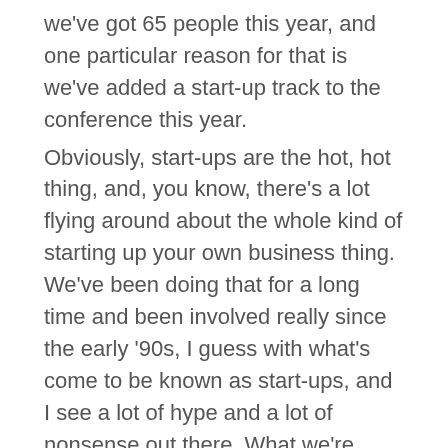we've got 65 people this year, and one particular reason for that is we've added a start-up track to the conference this year. Obviously, start-ups are the hot, hot thing, and, you know, there's a lot flying around about the whole kind of starting up your own business thing. We've been doing that for a long time and been involved really since the early '90s, I guess with what's come to be known as start-ups, and I see a lot of hype and a lot of nonsense out there. What we're really trying to do is address that by having people who've gone out and done it come back and share what they've learned. We've basically given people the brief to say what they wish they'd known